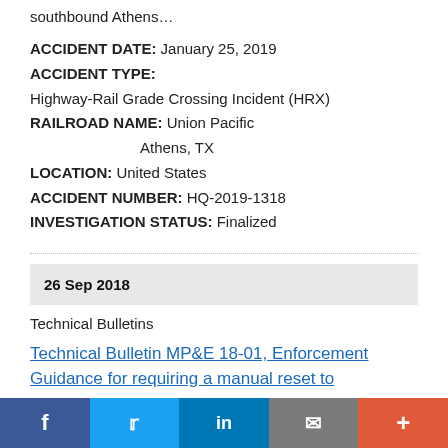southbound Athens…
ACCIDENT DATE: January 25, 2019
ACCIDENT TYPE:
Highway-Rail Grade Crossing Incident (HRX)
RAILROAD NAME: Union Pacific
               Athens, TX
LOCATION: United States
ACCIDENT NUMBER: HQ-2019-1318
INVESTIGATION STATUS: Finalized
26 Sep 2018
Technical Bulletins
Technical Bulletin MP&E 18-01, Enforcement Guidance for requiring a manual reset to